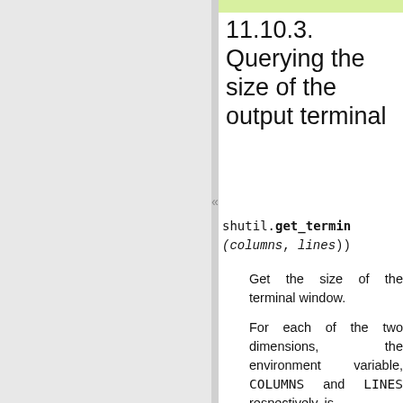11.10.3. Querying the size of the output terminal
shutil.get_termin(columns, lines)
Get the size of the terminal window.
For each of the two dimensions, the environment variable, COLUMNS and LINES respectively, is